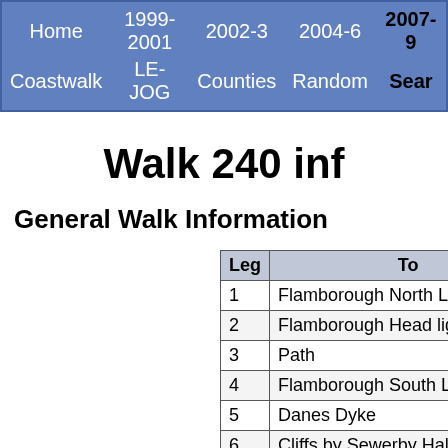Home   1999-2001   2002-3   2004-6   2007-9   Coastwalk   LE-JOG   Counties   Random   Search
Walk 240 inf
General Walk Information
| Leg | To |
| --- | --- |
| 1 | Flamborough North Landing ca |
| 2 | Flamborough Head lighthouse |
| 3 | Path |
| 4 | Flamborough South Landing |
| 5 | Danes Dyke |
| 6 | Cliffs by Sewerby Hall |
| 7 | Bridlington harbour wall |
| 8 | South Beach opposite amuseme |